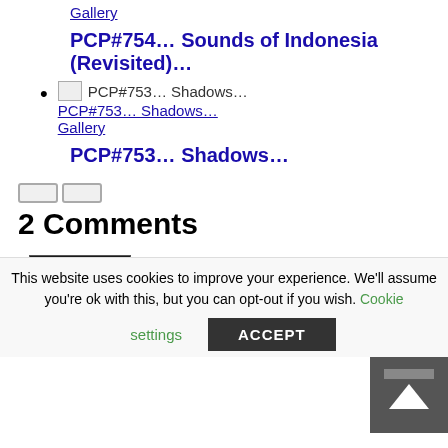Gallery
PCP#754… Sounds of Indonesia (Revisited)…
PCP#753… Shadows… Gallery
PCP#753… Shadows…
2 Comments
1. Rob April 9, 2011 at 9:58 pm - Reply
[Figure (photo): Comment avatar showing a person with fire at night]
This website uses cookies to improve your experience. We'll assume you're ok with this, but you can opt-out if you wish. Cookie settings ACCEPT